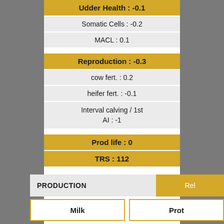Udder Health : -0.1
Somatic Cells : -0.2
MACL : 0.1
Reproduction : -0.3
cow fert. : 0.2
heifer fert. : -0.1
Interval calving / 1st AI : -1
Prod life : 0
TRS : 112
| PRODUCTION | Rel |
| --- | --- |
Milk
Prot